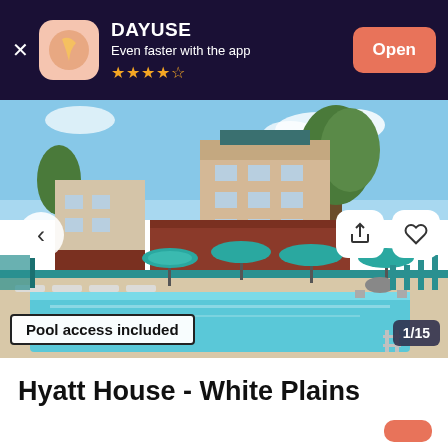DAYUSE — Even faster with the app ★★★★½ — Open
[Figure (photo): Outdoor hotel pool area with lounge chairs, teal umbrellas, and multi-story hotel building in background with trees and blue sky]
Pool access included
1/15
Hyatt House - White Plains